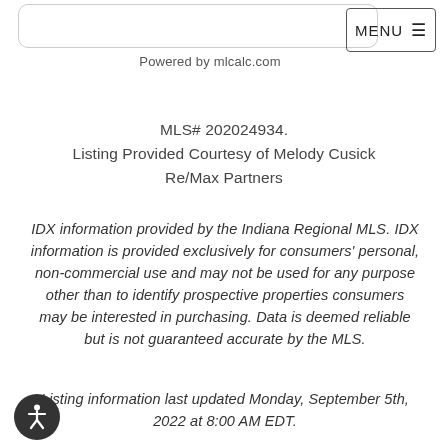Powered by mlcalc.com
MLS# 202024934.
Listing Provided Courtesy of Melody Cusick
Re/Max Partners
IDX information provided by the Indiana Regional MLS. IDX information is provided exclusively for consumers' personal, non-commercial use and may not be used for any purpose other than to identify prospective properties consumers may be interested in purchasing. Data is deemed reliable but is not guaranteed accurate by the MLS.
Listing information last updated Monday, September 5th, 2022 at 8:00 AM EDT.